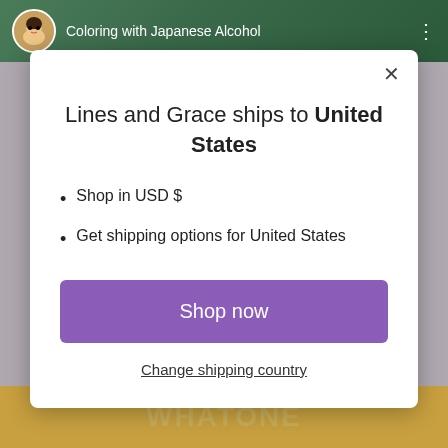[Figure (screenshot): Background showing a YouTube-like video page with a green channel header and golden bottom bar, partially obscured by a modal dialog overlay.]
Coloring with Japanese Alcohol
Lines and Grace ships to United States
Shop in USD $
Get shipping options for United States
Shop now
Change shipping country